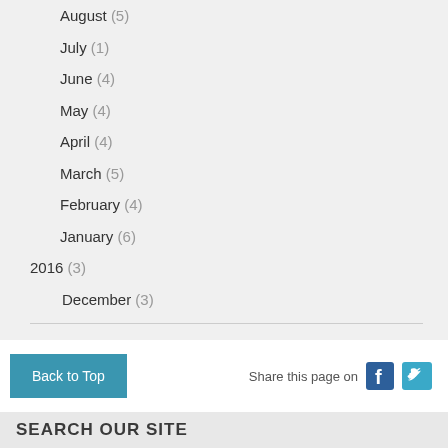August (5)
July (1)
June (4)
May (4)
April (4)
March (5)
February (4)
January (6)
2016 (3)
December (3)
Access all blogs
Subscribe to all of our blogs
Back to Top
Share this page on
SEARCH OUR SITE